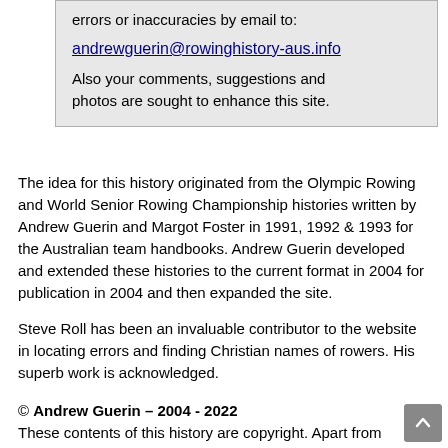errors or inaccuracies by email to:
andrewguerin@rowinghistory-aus.info
Also your comments, suggestions and photos are sought to enhance this site.
The idea for this history originated from the Olympic Rowing and World Senior Rowing Championship histories written by Andrew Guerin and Margot Foster in 1991, 1992 & 1993 for the Australian team handbooks. Andrew Guerin developed and extended these histories to the current format in 2004 for publication in 2004 and then expanded the site.
Steve Roll has been an invaluable contributor to the website in locating errors and finding Christian names of rowers. His superb work is acknowledged.
© Andrew Guerin – 2004 - 2022
These contents of this history are copyright. Apart from any fair dealing for the purposes of private study, research, criticism or review, as permitted by the Copyright Act, no part may be